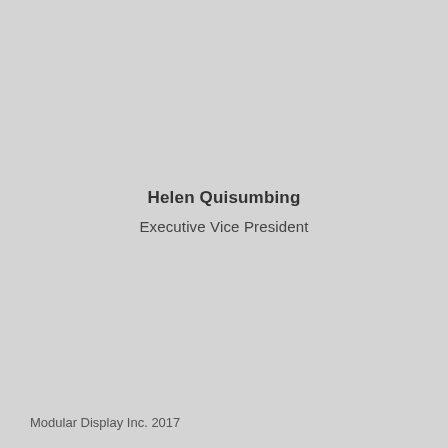Helen Quisumbing
Executive Vice President
Modular Display Inc. 2017